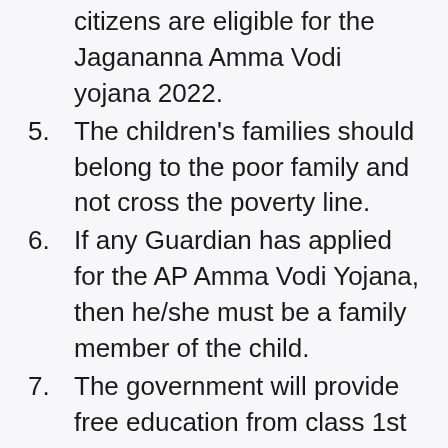citizens are eligible for the Jagananna Amma Vodi yojana 2022.
5. The children's families should belong to the poor family and not cross the poverty line.
6. If any Guardian has applied for the AP Amma Vodi Yojana, then he/she must be a family member of the child.
7. The government will provide free education from class 1st to intermediate.